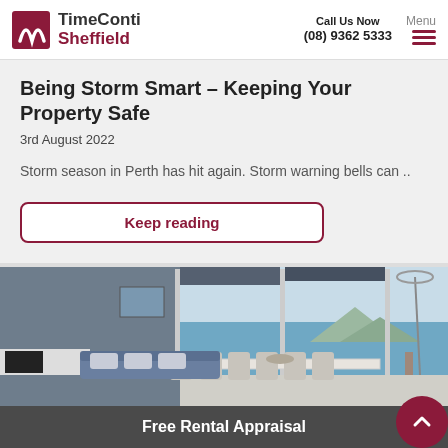TimeConti Sheffield | Call Us Now (08) 9362 5333 | Menu
Being Storm Smart – Keeping Your Property Safe
3rd August 2022
Storm season in Perth has hit again. Storm warning bells can ..
Keep reading
[Figure (photo): Interior photo of a modern apartment living/dining room with ocean view through floor-to-ceiling windows]
Free Rental Appraisal